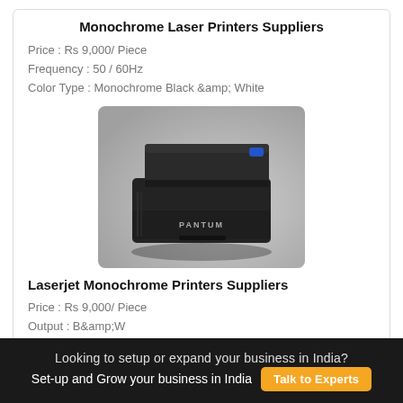Monochrome Laser Printers Suppliers
Price : Rs 9,000/ Piece
Frequency : 50 / 60Hz
Color Type : Monochrome Black &amp; White
[Figure (photo): Black Pantum monochrome laser printer on a grey gradient background]
Laserjet Monochrome Printers Suppliers
Price : Rs 9,000/ Piece
Output : B&amp;W
Display : 2-line backlit LCD graphic display
Looking to setup or expand your business in India?
Set-up and Grow your business in India  Talk to Experts